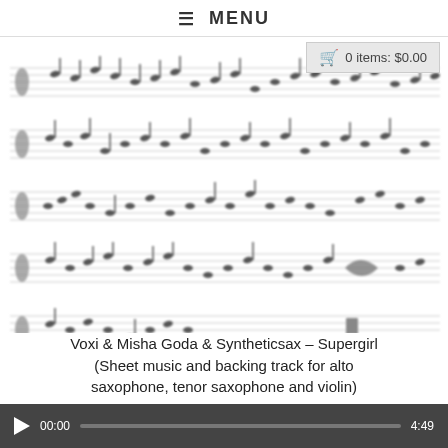≡ MENU
🛒 0 items: $0.00
[Figure (other): Blurred sheet music notation showing 5 rows of musical staff lines with notes, clefs, and other musical symbols, partially obscured/blurred as a preview]
Voxi & Misha Goda & Syntheticsax – Supergirl (Sheet music and backing track for alto saxophone, tenor saxophone and violin)
▶ 00:00  4:49